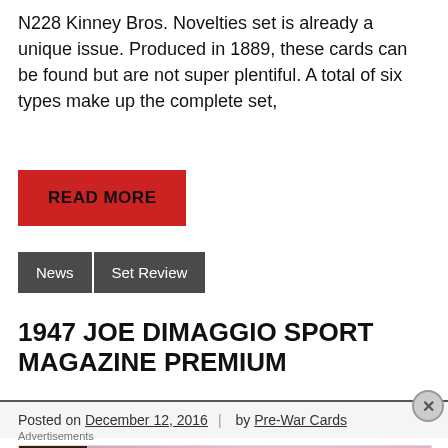N228 Kinney Bros. Novelties set is already a unique issue. Produced in 1889, these cards can be found but are not super plentiful. A total of six types make up the complete set,
READ MORE
News
Set Review
1947 JOE DIMAGGIO SPORT MAGAZINE PREMIUM
Posted on December 12, 2016 | by Pre-War Cards
[Figure (photo): Victoria's Secret advertisement banner with model and 'SHOP THE COLLECTION / SHOP NOW' text]